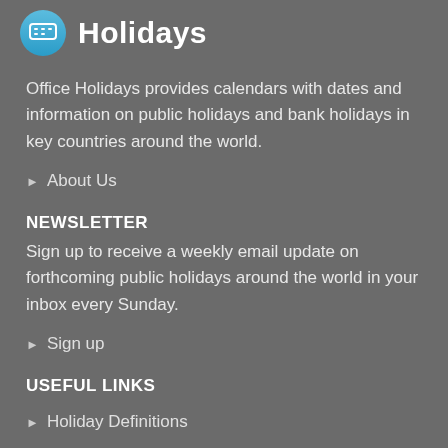Holidays
Office Holidays provides calendars with dates and information on public holidays and bank holidays in key countries around the world.
About Us
NEWSLETTER
Sign up to receive a weekly email update on forthcoming public holidays around the world in your inbox every Sunday.
Sign up
USEFUL LINKS
Holiday Definitions
There is a Day for That!